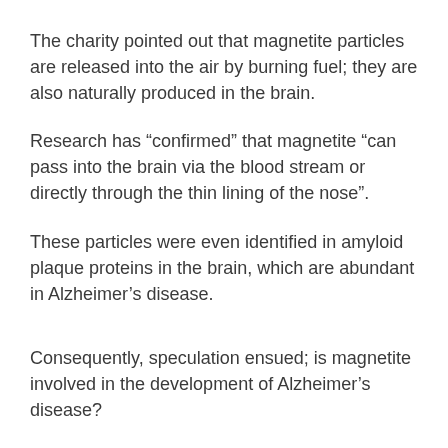The charity pointed out that magnetite particles are released into the air by burning fuel; they are also naturally produced in the brain.
Research has “confirmed” that magnetite “can pass into the brain via the blood stream or directly through the thin lining of the nose”.
These particles were even identified in amyloid plaque proteins in the brain, which are abundant in Alzheimer’s disease.
Consequently, speculation ensued; is magnetite involved in the development of Alzheimer’s disease?
“A direct link between air pollution and Alzheimer’s disease has not been found,” the charity stated.